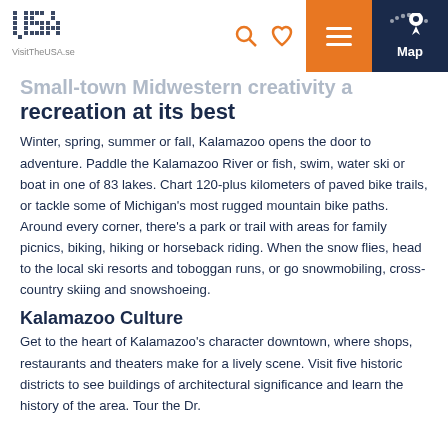VisitTheUSA.se | Map
Small-town Midwestern creativity and recreation at its best
Winter, spring, summer or fall, Kalamazoo opens the door to adventure. Paddle the Kalamazoo River or fish, swim, water ski or boat in one of 83 lakes. Chart 120-plus kilometers of paved bike trails, or tackle some of Michigan's most rugged mountain bike paths. Around every corner, there's a park or trail with areas for family picnics, biking, hiking or horseback riding. When the snow flies, head to the local ski resorts and toboggan runs, or go snowmobiling, cross-country skiing and snowshoeing.
Kalamazoo Culture
Get to the heart of Kalamazoo's character downtown, where shops, restaurants and theaters make for a lively scene. Visit five historic districts to see buildings of architectural significance and learn the history of the area. Tour the Dr.